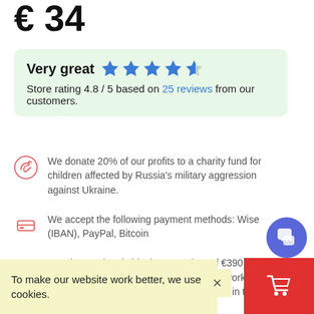€ 34
Very great ★★★★☆ Store rating 4.8 / 5 based on 25 reviews from our customers.
We donate 20% of our profits to a charity fund for children affected by Russia's military aggression against Ukraine.
We accept the following payment methods: Wise (IBAN), PayPal, Bitcoin
Free international shipping on orders of €390 and more. Shipping time: 7-14 Days. We are working! International delivery is from a warehouse in the European.
Professional advice and order confidentiality.
To make our website work better, we use cookies.